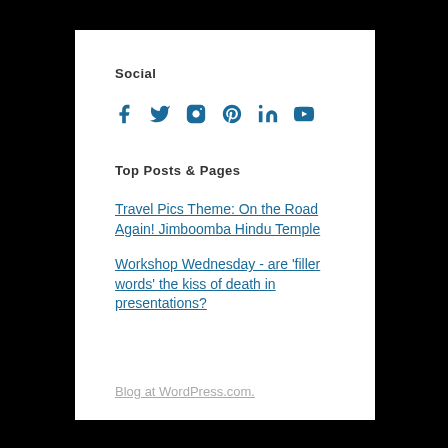Social
[Figure (infographic): Social media icons for Facebook, Twitter, Instagram, Pinterest, LinkedIn, and YouTube in blue]
Top Posts & Pages
Travel Pics Theme: On the Road Again! Jimboomba Hindu Temple
Workshop Wednesday - are 'filler words' the kiss of death in presentations?
Blog at WordPress.com.